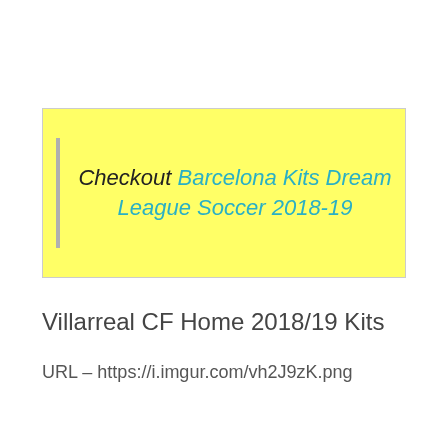[Figure (other): Yellow highlighted box with italic text: Checkout Barcelona Kits Dream League Soccer 2018-19, with a left gray vertical bar accent]
Villarreal CF Home 2018/19 Kits
URL – https://i.imgur.com/vh2J9zK.png